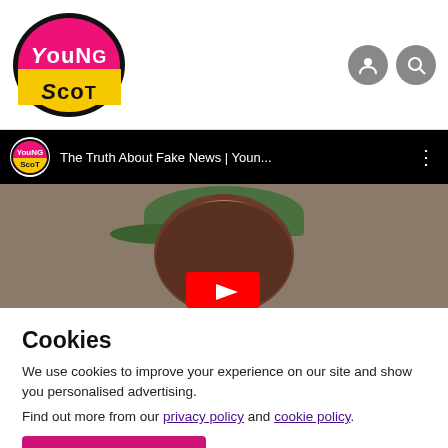[Figure (logo): Young Scot logo — oval shape with pink top section showing 'YouNG' in white and yellow bottom section showing 'ScoT' in black]
[Figure (screenshot): YouTube video embed showing 'The Truth About Fake News | Youn...' with Young Scot channel icon, person wearing green cap viewed from behind, red YouTube play button visible]
Cookies
We use cookies to improve your experience on our site and show you personalised advertising.
Find out more from our privacy policy and cookie policy.
Accept and close
Your options